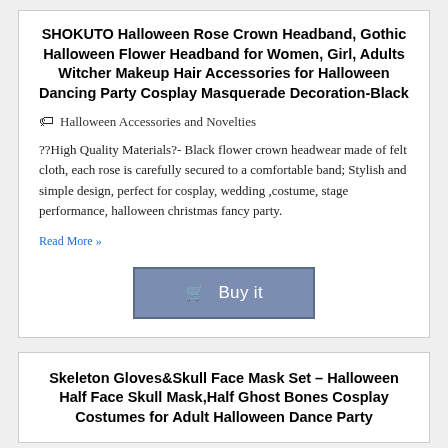SHOKUТО Halloween Rose Crown Headband, Gothic Halloween Flower Headband for Women, Girl, Adults Witcher Makeup Hair Accessories for Halloween Dancing Party Cosplay Masquerade Decoration-Black
Halloween Accessories and Novelties
??High Quality Materials?- Black flower crown headwear made of felt cloth, each rose is carefully secured to a comfortable band; Stylish and simple design, perfect for cosplay, wedding ,costume, stage performance, halloween christmas fancy party.
Read More »
[Figure (other): Buy it button with shopping cart icon]
Skeleton Gloves&Skull Face Mask Set – Halloween Half Face Skull Mask,Half Ghost Bones Cosplay Costumes for Adult Halloween Dance Party